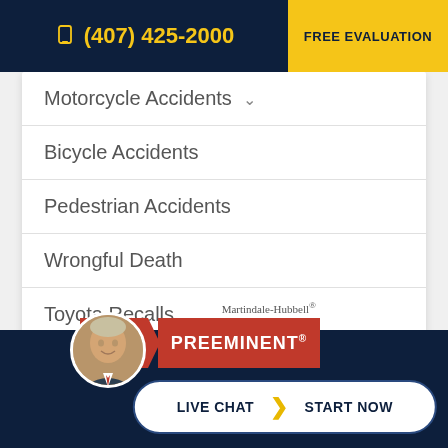(407) 425-2000  FREE EVALUATION
Motorcycle Accidents
Bicycle Accidents
Pedestrian Accidents
Wrongful Death
Toyota Recalls
Golf Cart Accidents
[Figure (logo): Martindale-Hubbell Preeminent badge - red badge with AV rating]
LIVE CHAT  START NOW